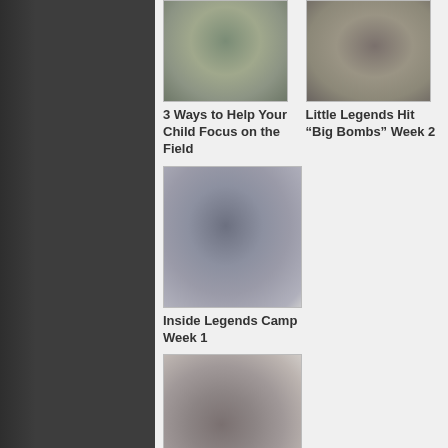[Figure (photo): Blurred outdoor/field photo thumbnail - top left]
[Figure (photo): Blurred outdoor/field photo thumbnail - top right]
3 Ways to Help Your Child Focus on the Field
Little Legends Hit “Big Bombs” Week 2
[Figure (photo): Blurred photo thumbnail - middle left]
Inside Legends Camp Week 1
[Figure (photo): Blurred photo thumbnail - bottom left]
David Klein – Founder/General Manager